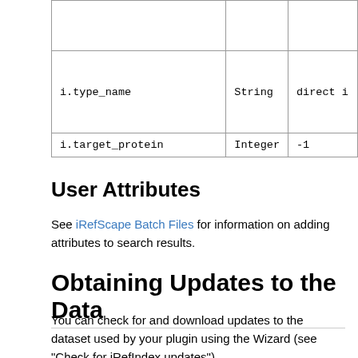| Field | Type | Default/Notes |
| --- | --- | --- |
|  |  |  |
| i.type_name | String | direct i |
| i.target_protein | Integer | -1 |
User Attributes
See iRefScape Batch Files for information on adding attributes to search results.
Obtaining Updates to the Data
You can check for and download updates to the dataset used by your plugin using the Wizard (see "Check for iRefIndex updates").